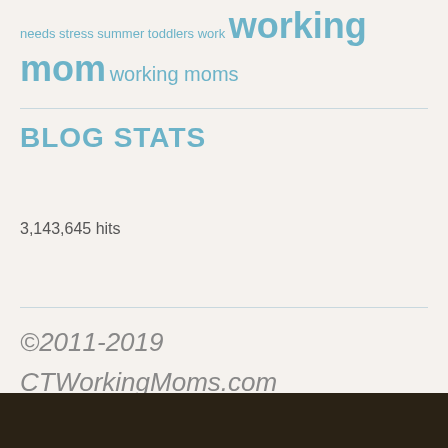needs stress summer toddlers work working mom working moms
BLOG STATS
3,143,645 hits
©2011-2019 CTWorkingMoms.com